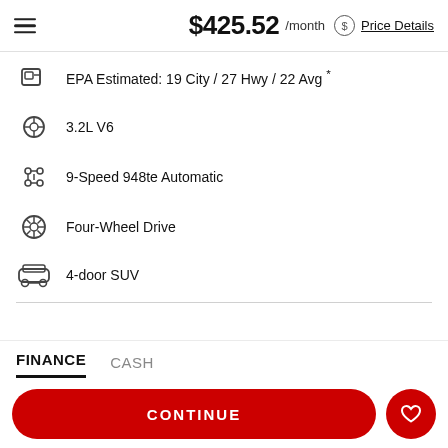$425.52 /month Price Details
EPA Estimated: 19 City / 27 Hwy / 22 Avg *
3.2L V6
9-Speed 948te Automatic
Four-Wheel Drive
4-door SUV
FINANCE   CASH
CONTINUE